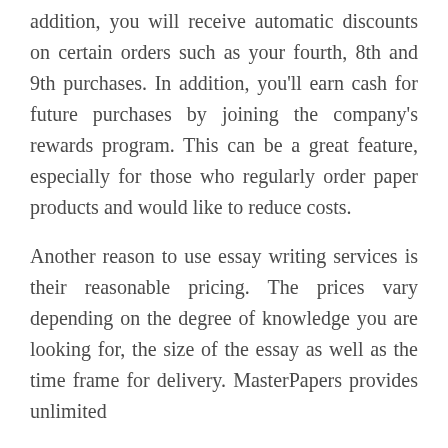addition, you will receive automatic discounts on certain orders such as your fourth, 8th and 9th purchases. In addition, you'll earn cash for future purchases by joining the company's rewards program. This can be a great feature, especially for those who regularly order paper products and would like to reduce costs.
Another reason to use essay writing services is their reasonable pricing. The prices vary depending on the degree of knowledge you are looking for, the size of the essay as well as the time frame for delivery. MasterPapers provides unlimited